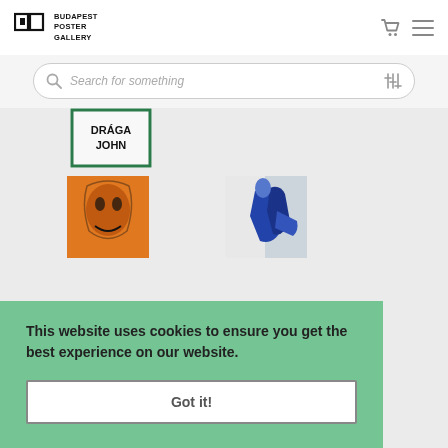Budapest Poster Gallery
Search for something
[Figure (photo): Poster thumbnail showing 'DRAGA JOHN' text in black on white background with green border]
[Figure (photo): Vintage poster with orange and black illustration of a woman's face]
[Figure (photo): Poster with blue and dark illustration of a figure in a coat]
[Figure (photo): Partially visible poster at bottom left]
[Figure (photo): Partially visible poster at bottom right with blue/green colors]
This website uses cookies to ensure you get the best experience on our website.
Got it!